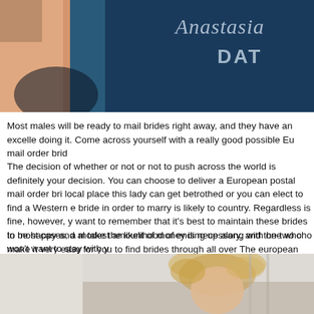[Figure (photo): Top portion of a website page showing a partial photo with a woman, dark blue teal background, and the Anastasia Date logo/script text in the upper right]
Most males will be ready to mail brides right away, and they have an excelle doing it. Come across yourself with a really good possible Eu mail order brid
The decision of whether or not or not to push across the world is definitely your decision. You can choose to deliver a European postal mail order bri local place this lady can get betrothed or you can elect to find a Western e bride in order to marry is likely to country. Regardless is fine, however, y want to remember that it's best to maintain these brides to be happy and al take the likelihood of ending up along with one who won't want to stay with y
In most cases, a modest amount of money is necessary, and the two cho make it very easy for you to find brides through all over The european union
[Figure (photo): Bottom portion showing a blonde woman with tousled hair, appearing to be an online dating site image]